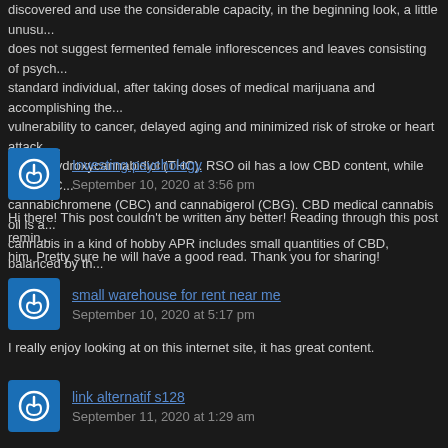discovered and use the considerable capacity, in the beginning look, a little unusu... does not suggest fermented female inflorescences and leaves consisting of psych... standard individual, after taking doses of medical marijuana and accomplishing the... vulnerability to cancer, delayed aging and minimized risk of stroke or heart attack. ... of tetrahydroxycannabidiol (THC). RSO oil has a low CBD content, while high THC... cannabichromene (CBC) and cannabigerol (CBG). CBD medical cannabis oil is a... cannabis in a kind of hobby APR includes small quantities of CBD, balanced by th...
Investing psychology
September 10, 2020 at 3:56 pm
Hi there! This post couldn't be written any better! Reading through this post remin... him. Pretty sure he will have a good read. Thank you for sharing!
small warehouse for rent near me
September 10, 2020 at 5:17 pm
I really enjoy looking at on this internet site, it has great content.
link alternatif s128
September 11, 2020 at 1:29 am